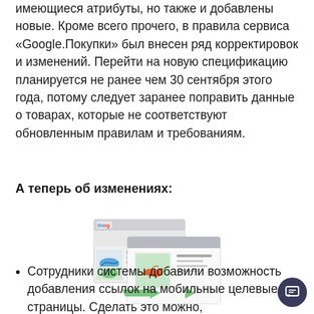имеющиеся атрибуты, но также и добавлены новые. Кроме всего прочего, в правила сервиса «Google.Покупки» был внесен ряд корректировок и изменений. Перейти на новую спецификацию планируется не ранее чем 30 сентября этого года, потому следует заранее поправить данные о товарах, которые не соответствуют обновленным правилам и требованиям.
А теперь об изменениях:
[Figure (illustration): Illustration of two browser windows showing a Google Shopping product feed interface with shoe images and arrows indicating data transfer/sync]
Сотрудники системы добавили возможность добавления ссылок на мобильные целевые страницы. Сделать это можно, воспользовавшись атрибутом